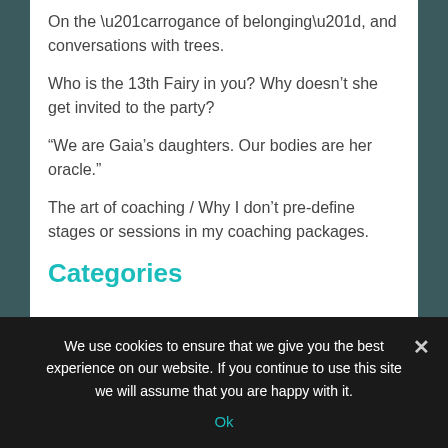On the “arrogance of belonging”, and conversations with trees.
Who is the 13th Fairy in you? Why doesn’t she get invited to the party?
“We are Gaia’s daughters. Our bodies are her oracle.”
The art of coaching / Why I don’t pre-define stages or sessions in my coaching packages.
Categories
We use cookies to ensure that we give you the best experience on our website. If you continue to use this site we will assume that you are happy with it.
Ok